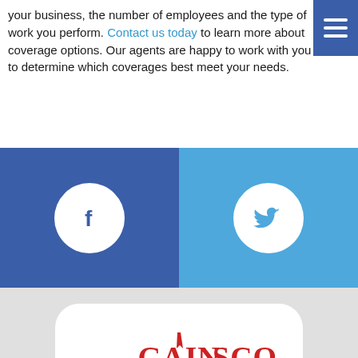your business, the number of employees and the type of work you perform. Contact us today to learn more about coverage options. Our agents are happy to work with you to determine which coverages best meet your needs.
[Figure (logo): Facebook and Twitter social media icon buttons on blue background bar]
[Figure (logo): GAINSCO Auto Insurance logo in white rounded rectangle card on gray background]
[Figure (illustration): Accessibility icon (person in circle) and partial blue circle at bottom]